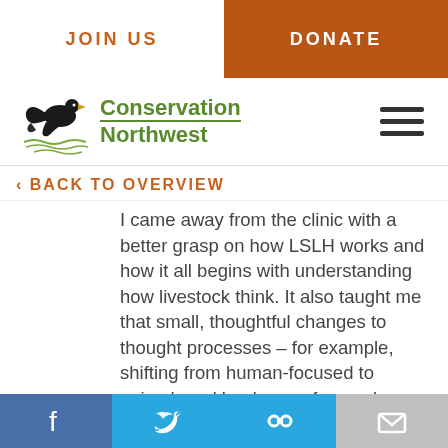JOIN US | DONATE
[Figure (logo): Conservation Northwest logo with eagle and green text]
‹ BACK TO OVERVIEW
I came away from the clinic with a better grasp on how LSLH works and how it all begins with understanding how livestock think. It also taught me that small, thoughtful changes to thought processes – for example, shifting from human-focused to animal- and landscape-focused behaviors – can yield measurable and positive results for
Facebook | Twitter | Link | Email